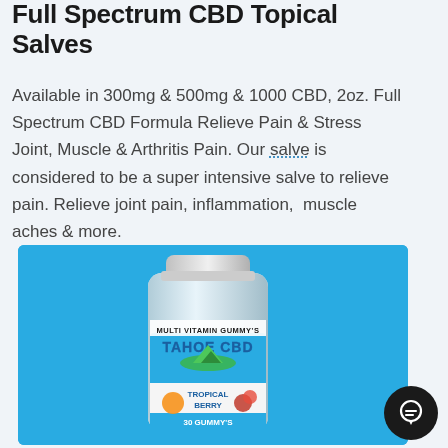Full Spectrum CBD Topical Salves
Available in 300mg & 500mg & 1000 CBD, 2oz. Full Spectrum CBD Formula Relieve Pain & Stress Joint, Muscle & Arthritis Pain. Our salve is considered to be a super intensive salve to relieve pain. Relieve joint pain, inflammation,  muscle aches & more.
[Figure (photo): Product photo of a supplement bottle labeled 'MULTI VITAMIN GUMMY'S TAHOE CBD TROPICAL BERRY 30 GUMMY'S' on a bright blue background]